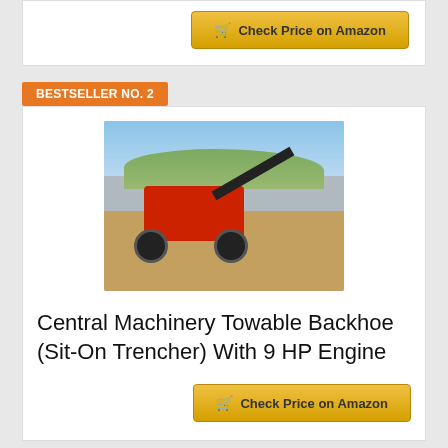[Figure (other): Partial 'Check Price on Amazon' button visible at top of page]
BESTSELLER NO. 2
[Figure (photo): Photo of a Central Machinery Towable Backhoe (Sit-On Trencher) with 9 HP Engine, shown in an outdoor desert/scrubland setting]
Central Machinery Towable Backhoe (Sit-On Trencher) With 9 HP Engine
[Figure (other): Check Price on Amazon button with shopping cart icon]
BESTSELLER NO. 3
[Figure (photo): Partial photo visible at bottom of page for Bestseller No. 3 product]